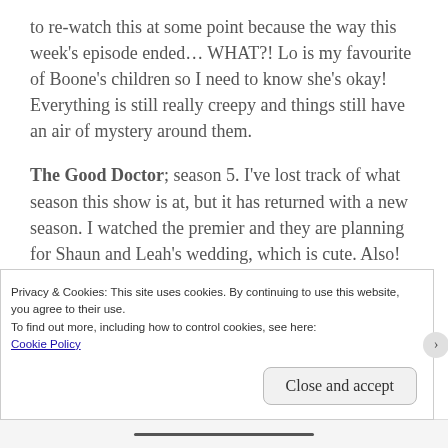to re-watch this at some point because the way this week's episode ended… WHAT?! Lo is my favourite of Boone's children so I need to know she's okay! Everything is still really creepy and things still have an air of mystery around them.
The Good Doctor; season 5. I've lost track of what season this show is at, but it has returned with a new season. I watched the premier and they are planning for Shaun and Leah's wedding, which is cute. Also! The whole plot to see the hospital being sold to who we thought was a
Privacy & Cookies: This site uses cookies. By continuing to use this website, you agree to their use.
To find out more, including how to control cookies, see here:
Cookie Policy
Close and accept